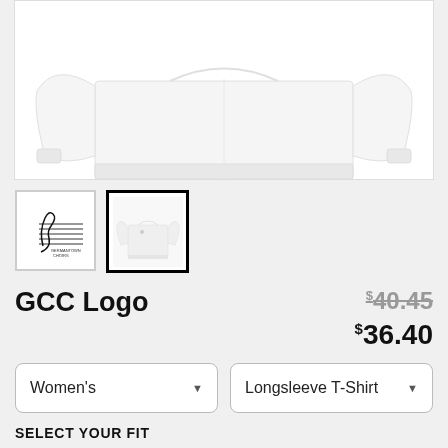[Figure (photo): White longsleeve sweatshirt product photo on white background, cropped showing upper body portion]
[Figure (photo): Thumbnail 1: GCC Germantown Choirs logo - cursive script with musical staff lines]
[Figure (photo): Thumbnail 2 (active/selected): White longsleeve T-shirt front view, small logo on chest]
GCC Logo
$40.45 (strikethrough original price) $36.40 (sale price)
Women's (dropdown) | Longsleeve T-Shirt (dropdown)
SELECT YOUR FIT